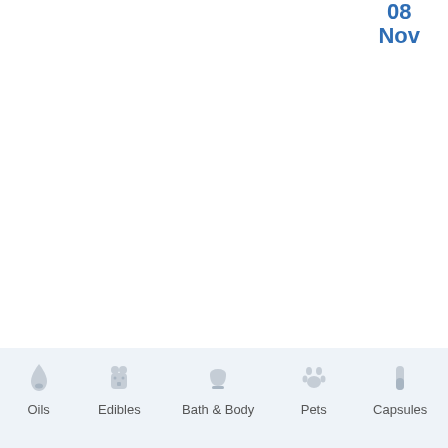08 Nov
[Figure (other): Mobile app bottom navigation bar with icons and labels for Oils, Edibles, Bath & Body, Pets, and Capsules]